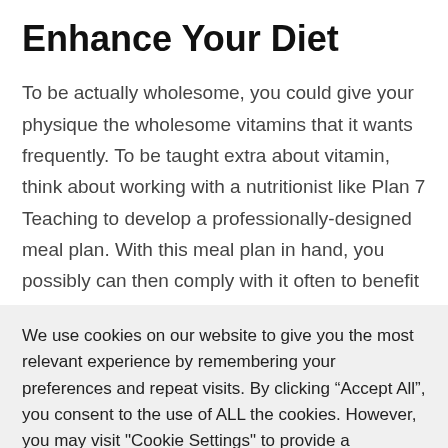Enhance Your Diet
To be actually wholesome, you could give your physique the wholesome vitamins that it wants frequently. To be taught extra about vitamin, think about working with a nutritionist like Plan 7 Teaching to develop a professionally-designed meal plan. With this meal plan in hand, you possibly can then comply with it often to benefit from the outcomes. By means of improved
We use cookies on our website to give you the most relevant experience by remembering your preferences and repeat visits. By clicking “Accept All”, you consent to the use of ALL the cookies. However, you may visit "Cookie Settings" to provide a controlled consent.
Cookie Settings | Accept All